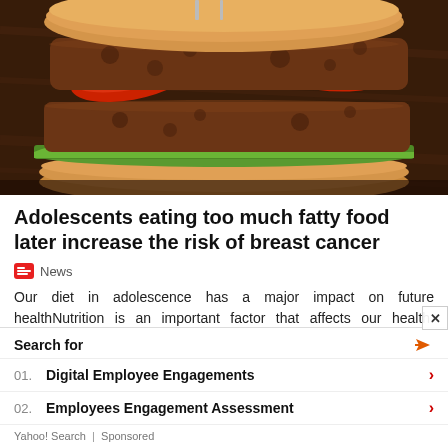[Figure (photo): Close-up photo of a large burger with lettuce, red peppers/tomatoes, and a sesame-style bun on a dark wooden surface]
Adolescents eating too much fatty food later increase the risk of breast cancer
News
Our diet in adolescence has a major impact on future healthNutrition is an important factor that affects our health. Researchers have now found that food consumed in our youth can have a major impact on future health. Teenag­
Search for
01. Digital Employee Engagements
02. Employees Engagement Assessment
Yahoo! Search | Sponsored